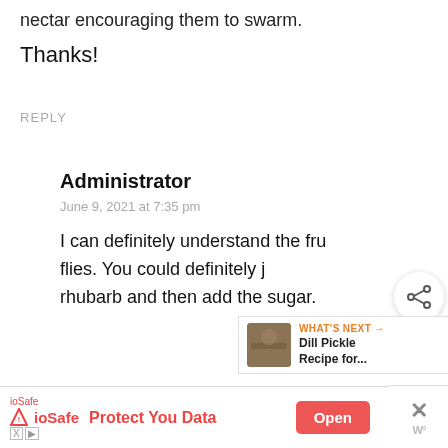nectar encouraging them to swarm.
Thanks!
REPLY
Administrator
June 9, 2021 at 7:35 pm
I can definitely understand the fru flies. You could definitely j rhubarb and then add the sugar.
[Figure (infographic): Share icon button (circle with share symbol)]
[Figure (infographic): What's Next panel with thumbnail image and text: Dill Pickle Recipe for...]
[Figure (infographic): ioSafe advertisement banner: Protect You Data, Open button, close X button]